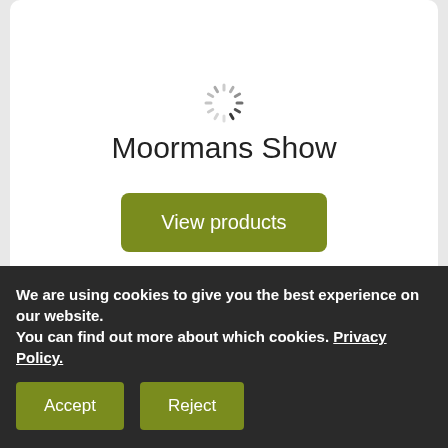[Figure (other): Loading spinner icon (circular dashes)]
Moormans Show
View products
[Figure (other): Loading spinner icon (circular dashes), second card]
We are using cookies to give you the best experience on our website.
You can find out more about which cookies. Privacy Policy.
Accept
Reject